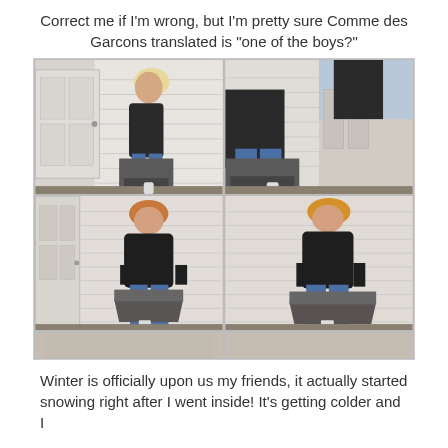Correct me if I'm wrong, but I'm pretty sure Comme des Garcons translated is "one of the boys?"
[Figure (photo): A 2x2 grid of fashion photographs showing a person with short blonde/red hair wearing a black coat and wide-leg blue jeans, posing outdoors near a white house with shutters and what appears to be a dark metal container. The top-left shows a side profile view, top-right shows a partial/cropped view, bottom-left shows a frontal pose, bottom-right shows a similar frontal pose. A partial strip of additional images appears at the bottom of the grid.]
Winter is officially upon us my friends, it actually started snowing right after I went inside! It's getting colder and I